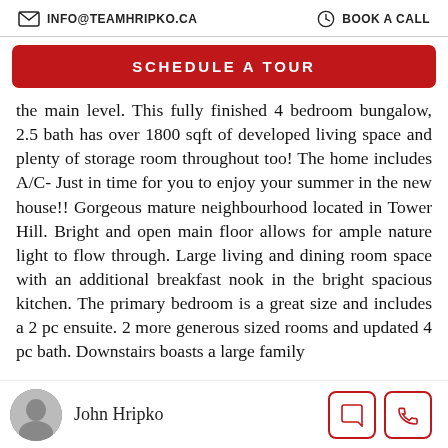INFO@TEAMHRIPKO.CA   BOOK A CALL
SCHEDULE A TOUR
the main level. This fully finished 4 bedroom bungalow, 2.5 bath has over 1800 sqft of developed living space and plenty of storage room throughout too! The home includes A/C- Just in time for you to enjoy your summer in the new house!! Gorgeous mature neighbourhood located in Tower Hill. Bright and open main floor allows for ample nature light to flow through. Large living and dining room space with an additional breakfast nook in the bright spacious kitchen. The primary bedroom is a great size and includes a 2 pc ensuite. 2 more generous sized rooms and updated 4 pc bath. Downstairs boasts a large family
John Hripko